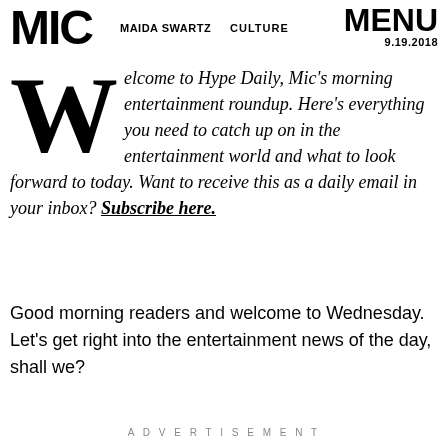MIC | MAIDA SWARTZ | CULTURE | MENU 9.19.2018
Welcome to Hype Daily, Mic's morning entertainment roundup. Here's everything you need to catch up on in the entertainment world and what to look forward to today. Want to receive this as a daily email in your inbox? Subscribe here.
Good morning readers and welcome to Wednesday. Let's get right into the entertainment news of the day, shall we?
ADVERTISEMENT